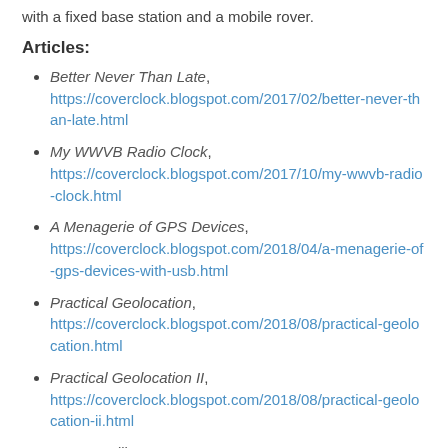with a fixed base station and a mobile rover.
Articles:
Better Never Than Late, https://coverclock.blogspot.com/2017/02/better-never-than-late.html
My WWVB Radio Clock, https://coverclock.blogspot.com/2017/10/my-wwvb-radio-clock.html
A Menagerie of GPS Devices, https://coverclock.blogspot.com/2018/04/a-menagerie-of-gps-devices-with-usb.html
Practical Geolocation, https://coverclock.blogspot.com/2018/08/practical-geolocation.html
Practical Geolocation II, https://coverclock.blogspot.com/2018/08/practical-geolocation-ii.html
GPS Satellite PRN 4, https://coverclock.blogspot.com/2018/11/...